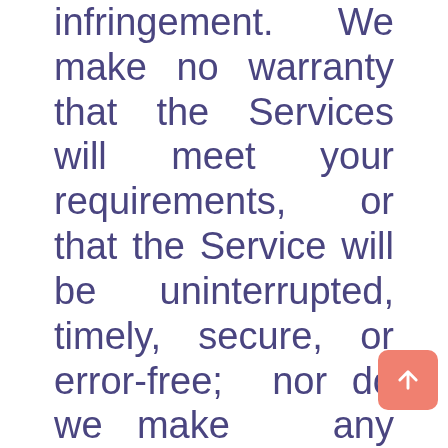infringement. We make no warranty that the Services will meet your requirements, or that the Service will be uninterrupted, timely, secure, or error-free; nor do we make any warranty as to the results that may be obtained from the use of the Service or as to the accuracy or